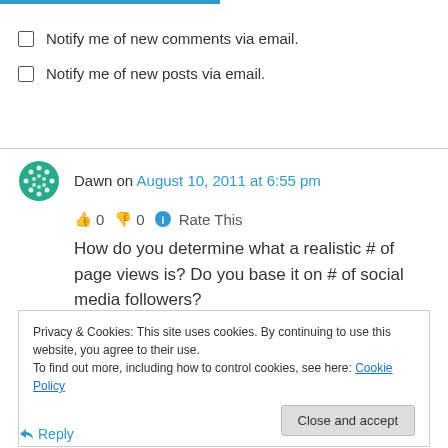Notify me of new comments via email.
Notify me of new posts via email.
Dawn on August 10, 2011 at 6:55 pm
👍 0 👎 0 ℹ️ Rate This
How do you determine what a realistic # of page views is? Do you base it on # of social media followers?
Privacy & Cookies: This site uses cookies. By continuing to use this website, you agree to their use. To find out more, including how to control cookies, see here: Cookie Policy
Reply